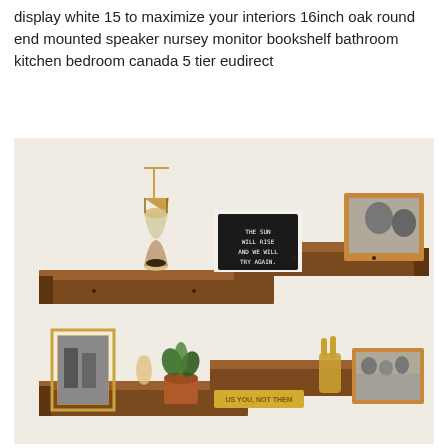display white 15 to maximize your interiors 16inch oak round end mounted speaker nursey monitor bookshelf bathroom kitchen bedroom canada 5 tier eudirect
[Figure (photo): A dark-stained wooden L-shaped corner floating shelf mounted on a white wall. The upper shelf displays: a hanging hourglass on the left, a black letterboard sign reading 'THE SUN WILL RISE AND WE WILL TRY AGAIN.' in the center, and a framed black-and-white photo on the right. The lower shelf displays: a gold geometric photo frame with a black-and-white image, a small decorative feather piece, a terracotta potted plant, a gold bar sign, a golden hand/peace sign sculpture, and a framed black-and-white group photo.]